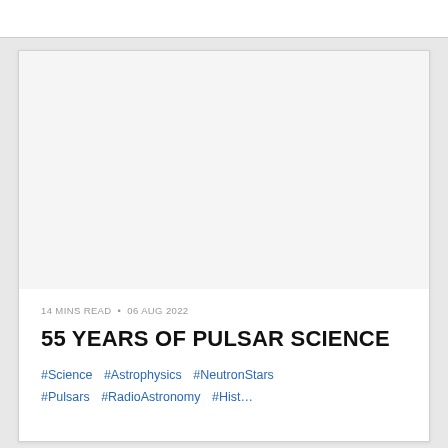[Figure (photo): Large image area at top of article card, appears blank/white placeholder for article cover image]
14 MINS READ • 06 AUG 2022
55 YEARS OF PULSAR SCIENCE
#Science  #Astrophysics  #NeutronStars  #Pulsars  #RadioAstronomy  #History